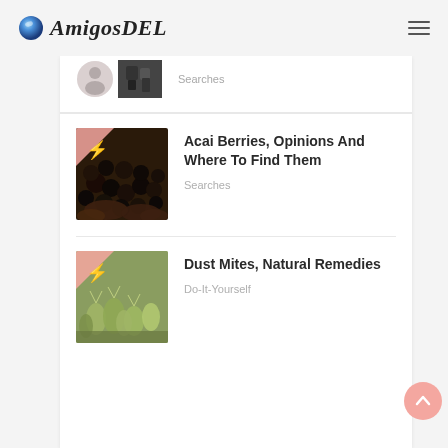AmigosDEL
[Figure (screenshot): Partial article thumbnail showing two small images and 'Searches' category label]
[Figure (photo): Hands holding dark acai berries]
Acai Berries, Opinions And Where To Find Them
Searches
[Figure (photo): Macro photo of dust mites on surface]
Dust Mites, Natural Remedies
Do-It-Yourself